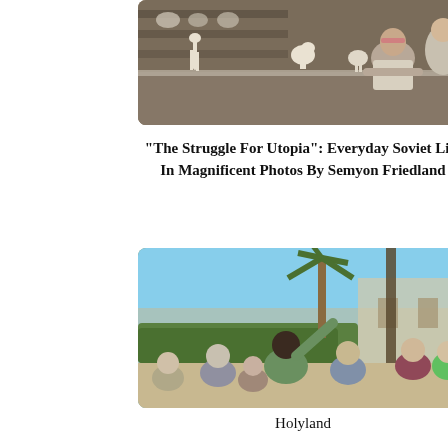[Figure (photo): A woman in a workshop or factory setting, leaning on a table with white ceramic animal figurines (including what appear to be horses or goats) arranged around her. She wears a light lab coat and pink headband. Industrial shelving visible in background.]
"The Struggle For Utopia": Everyday Soviet Life In Magnificent Photos By Semyon Friedland
[Figure (photo): A group of tourists or visitors seen from behind, gathered around a guide who is pointing upward. Palm trees and ancient ruins or historic buildings visible in the background. The scene suggests an outdoor tour in a warm climate, likely the Holy Land.]
Holyland